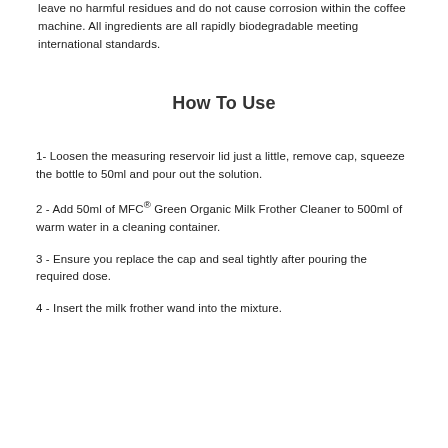leave no harmful residues and do not cause corrosion within the coffee machine. All ingredients are all rapidly biodegradable meeting international standards.
How To Use
1- Loosen the measuring reservoir lid just a little, remove cap, squeeze the bottle to 50ml and pour out the solution.
2 - Add 50ml of MFC® Green Organic Milk Frother Cleaner to 500ml of warm water in a cleaning container.
3 - Ensure you replace the cap and seal tightly after pouring the required dose.
4 - Insert the milk frother wand into the mixture.